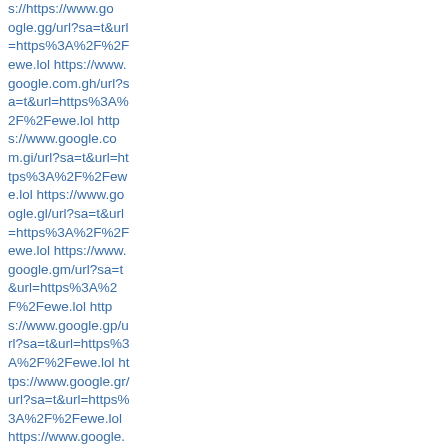s://https://www.google.gg/url?sa=t&url=https%3A%2F%2Fewe.lol https://www.google.com.gh/url?sa=t&url=https%3A%2F%2Fewe.lol https://www.google.com.gi/url?sa=t&url=https%3A%2F%2Fewe.lol https://www.google.gl/url?sa=t&url=https%3A%2F%2Fewe.lol https://www.google.gm/url?sa=t&url=https%3A%2F%2Fewe.lol https://www.google.gp/url?sa=t&url=https%3A%2F%2Fewe.lol https://www.google.gr/url?sa=t&url=https%3A%2F%2Fewe.lol https://www.google.com.gt/url?sa=t&url=https%3A%2F%2Fewe.lol https://www.google.gy/url?sa=t&url=https%3A%2F%2Fewe.lol https://ww